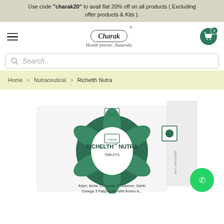Use code "charak20" to avail flat 20% off on all products ( Excluding offer products & Kits ).
[Figure (logo): Charak brand logo with tagline 'Health forever...Naturally' and hamburger menu on left, cart icon on right]
Search..
Home > Nutraceutical > Richelth Nutra
[Figure (photo): Richelth Nutra Tablets product box by Charak, featuring green leaf design, text: Arjun, Amia, Curcuma, Cinnamon, Garlic, Omega 3 Fatty Acids with Amino Acids]